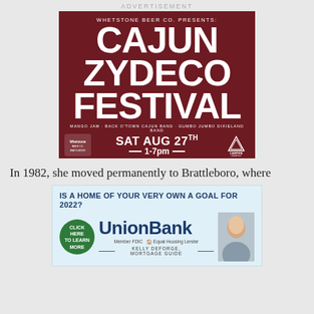ADVERTISEMENT
[Figure (infographic): Dark red/maroon advertisement for Whetstone Beer Co. presents Cajun Zydeco Festival. Large white bold retro text reads CAJUN ZYDECO FESTIVAL. Bands listed: Mango Jam, Back O'Town Cajun Band, Gumbo Jumbo Dixieland Band. Date: SAT AUG 27th, 1-7pm. Whetstone Beer Co. logo on left, Campfire Vermont logo on right.]
In 1982, she moved permanently to Brattleboro, where
[Figure (infographic): Light blue advertisement for UnionBank. Headline: IS A HOME OF YOUR VERY OWN A GOAL FOR 2022? Green circular button: CLICK HERE to learn more. UnionBank logo in large dark blue text. Member FDIC Equal Housing Lender. Kelly DeFORGE, MORTGAGE GUIDE. Photo of woman on right side.]